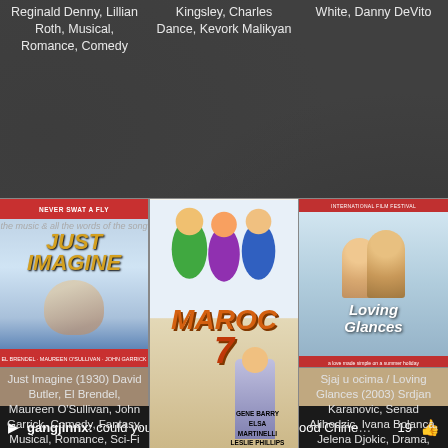Reginald Denny, Lillian Roth, Musical, Romance, Comedy
Kingsley, Charles Dance, Kevork Malikyan
White, Danny DeVito
[Figure (photo): Movie poster for 'Just Imagine' (1930), vintage film poster with red header 'NEVER SWAT A FLY' and stylized yellow italic title text]
[Figure (photo): Movie poster for 'Maroc 7' (1967), colorful illustration with large orange italic title and cast credits including Gene Barry, Elsa Martinelli, Leslie Phillips, Cyd Charisse]
[Figure (photo): Movie poster for 'Loving Glances' (2003), showing two people close together with cursive title text]
Just Imagine (1930) David Butler, El Brendel, Maureen O’Sullivan, John Garrick, Comedy, Fantasy, Musical, Romance, Sci-Fi
Maroc 7 (1967) Gerry O’Hara, Gene Barry, Elsa Martinelli, Leslie Phillips, Crime, Drama, Thriller
Sjaj u ocima / Loving Glances (2003) Srdjan Karanovic, Senad Alihodzic, Ivana Bolanca, Jelena Djokic, Drama, Romance
gangjinnx: could you please re-upload "Hollywood Chine… 19